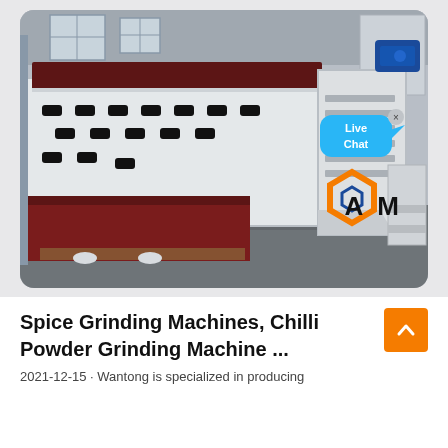[Figure (photo): Industrial grinding machine (large white/grey metallic frame with dark red/maroon sections, ventilation holes, mounted in a factory setting with concrete floor). A 'Live Chat' speech bubble overlay appears in the upper right area of the image, along with an 'AM' company logo watermark in the lower right corner.]
Spice Grinding Machines, Chilli Powder Grinding Machine ...
2021-12-15 · Wantong is specialized in producing